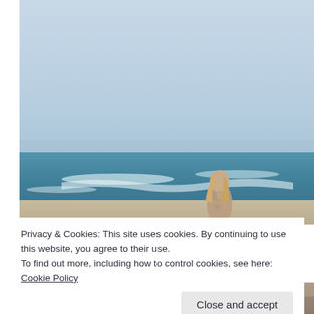[Figure (photo): A young blonde woman standing at a beach, photographed from the side/back, with ocean waves and a pale blue sky in the background. The image is bright and slightly hazy.]
Privacy & Cookies: This site uses cookies. By continuing to use this website, you agree to their use.
To find out more, including how to control cookies, see here: Cookie Policy
Close and accept
[Figure (photo): Partial view of another beach/outdoor photo at the bottom of the page, cropped.]